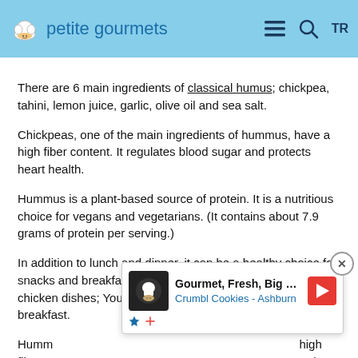petite gourmets
There are 6 main ingredients of classical humus; chickpea, tahini, lemon juice, garlic, olive oil and sea salt.
Chickpeas, one of the main ingredients of hummus, have a high fiber content. It regulates blood sugar and protects heart health.
Hummus is a plant-based source of protein. It is a nutritious choice for vegans and vegetarians. (It contains about 7.9 grams of protein per serving.)
In addition to lunch and dinner, it can be a healthy choice for snacks and breakfasts. As an appetizer with meat and chicken dishes; You can consume it as a sauce on toast for breakfast.
Hummus ... high fiber and ... r and helps to ... it is not low...
[Figure (other): Advertisement overlay for Crumbl Cookies - Ashburn: Gourmet, Fresh, Big Cookies]